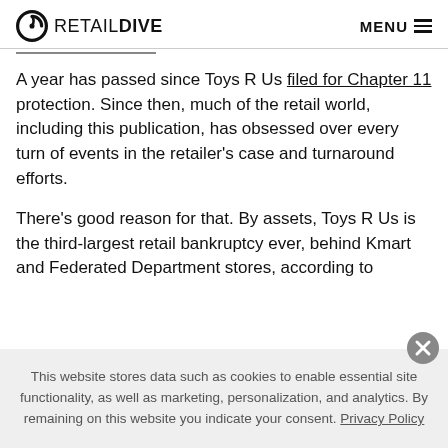RETAIL DIVE   MENU
A year has passed since Toys R Us filed for Chapter 11 protection. Since then, much of the retail world, including this publication, has obsessed over every turn of events in the retailer's case and turnaround efforts.
There's good reason for that. By assets, Toys R Us is the third-largest retail bankruptcy ever, behind Kmart and Federated Department stores, according to
This website stores data such as cookies to enable essential site functionality, as well as marketing, personalization, and analytics. By remaining on this website you indicate your consent. Privacy Policy